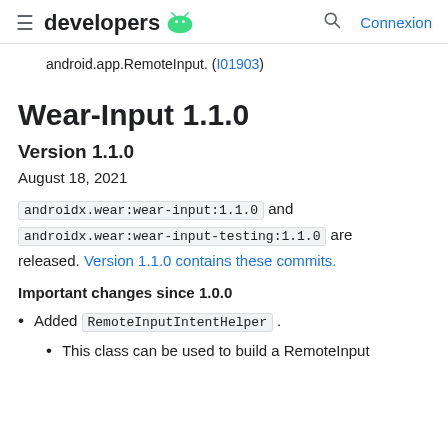≡ developers 🤖  🔍 Connexion
android.app.RemoteInput. (I01903)
Wear-Input 1.1.0
Version 1.1.0
August 18, 2021
androidx.wear:wear-input:1.1.0 and androidx.wear:wear-input-testing:1.1.0 are released. Version 1.1.0 contains these commits.
Important changes since 1.0.0
Added RemoteInputIntentHelper .
This class can be used to build a RemoteInput